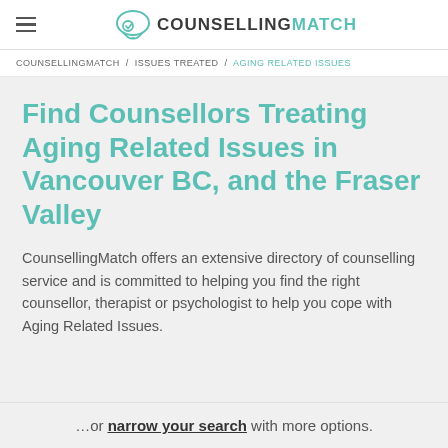COUNSELLINGMATCH
COUNSELLINGMATCH / ISSUES TREATED / AGING RELATED ISSUES
Find Counsellors Treating Aging Related Issues in Vancouver BC, and the Fraser Valley
CounsellingMatch offers an extensive directory of counselling service and is committed to helping you find the right counsellor, therapist or psychologist to help you cope with Aging Related Issues.
…or narrow your search with more options.